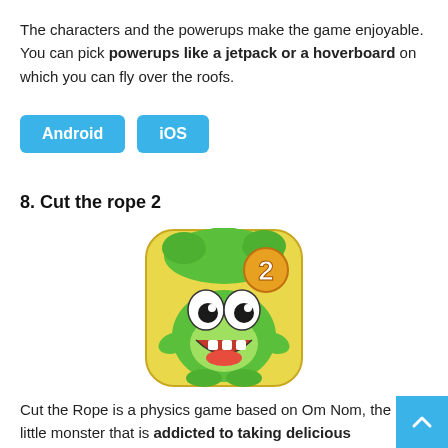The characters and the powerups make the game enjoyable. You can pick powerups like a jetpack or a hoverboard on which you can fly over the roofs.
Android | iOS
8. Cut the rope 2
[Figure (illustration): App icon for Cut the Rope 2 — a green cartoon frog-like creature Om Nom with big eyes and open mouth smiling, holding up, with a large orange '2' in upper right corner, on a yellow-green rounded square background with leaves.]
Cut the Rope is a physics game based on Om Nom, the little monster that is addicted to taking delicious treats.